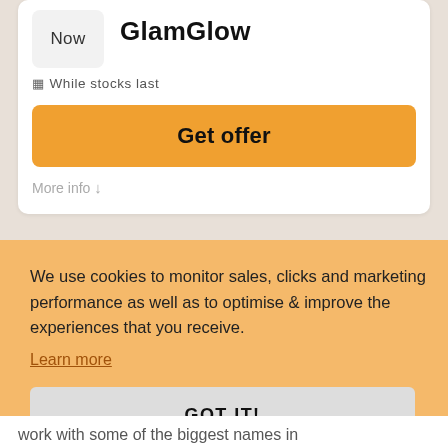Now
GlamGlow
While stocks last
Get offer
More info ↓
We use cookies to monitor sales, clicks and marketing performance as well as to optimise & improve the experiences that you receive.
Learn more
GOT IT!
work with some of the biggest names in